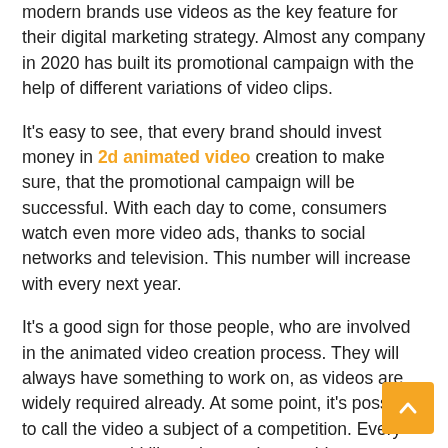modern brands use videos as the key feature for their digital marketing strategy. Almost any company in 2020 has built its promotional campaign with the help of different variations of video clips.
It's easy to see, that every brand should invest money in 2d animated video creation to make sure, that the promotional campaign will be successful. With each day to come, consumers watch even more video ads, thanks to social networks and television. This number will increase with every next year.
It's a good sign for those people, who are involved in the animated video creation process. They will always have something to work on, as videos are widely required already. At some point, it's possible to call the video a subject of a competition. Every company would like to have a better video advertisement, than the other one. Each brand will